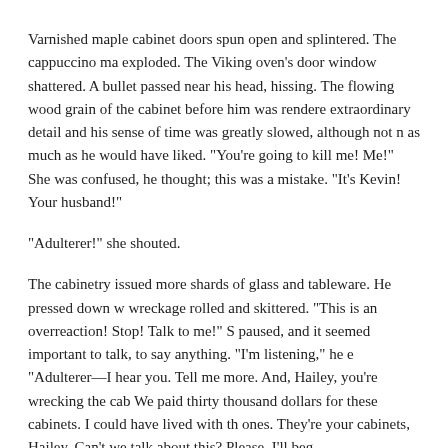Varnished maple cabinet doors spun open and splintered. The cappuccino ma exploded. The Viking oven's door window shattered. A bullet passed near his head, hissing. The flowing wood grain of the cabinet before him was rendere extraordinary detail and his sense of time was greatly slowed, although not n as much as he would have liked. “You’re going to kill me! Me!” She was confused, he thought; this was a mistake. “It’s Kevin! Your husband!”
“Adulterer!” she shouted.
The cabinetry issued more shards of glass and tableware. He pressed down w wreckage rolled and skittered. “This is an overreaction! Stop! Talk to me!” S paused, and it seemed important to talk, to say anything. “I’m listening,” he e “Adulterer—I hear you. Tell me more. And, Hailey, you’re wrecking the cab We paid thirty thousand dollars for these cabinets. I could have lived with th ones. They’re your cabinets, Hailey. Can’t we talk about this? Please. I’ll beg
Quiet. He hungered for more quiet.
She said, “Hair.”
“Hair?”
“Brunette. In the bedroom, in the bathroom.”